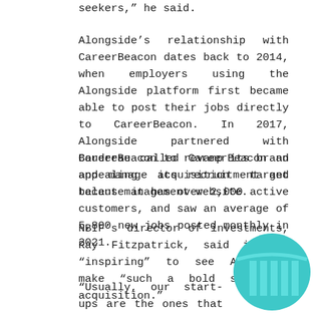seekers," he said.
Alongside's relationship with CareerBeacon dates back to 2014, when employers using the Alongside platform first became able to post their jobs directly to CareerBeacon. In 2017, Alongside partnered with CareerBeacon to revamp its brand and manage its recruitment and talent management website.
Boudreau called CareerBeacon an appealing acquisition target because it has over 2,000 active customers, and saw an average of 5,800 new jobs posted monthly in 2021.
NBIF's director of investments, Ray Fitzpatrick, said it was “inspiring” to see Alongside make “such a bold strategic acquisition.”
“Usually, our start-ups are the ones that get acquired and not the other way around,” he added. “Alongside has shown there is more
[Figure (logo): Teal/turquoise circular logo with vertical bar lines, partially visible in bottom-right corner of the page.]